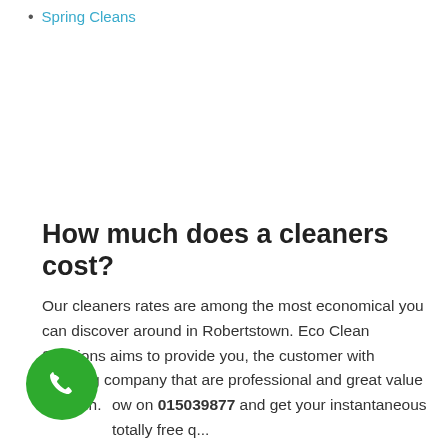Spring Cleans
How much does a cleaners cost?
Our cleaners rates are among the most economical you can discover around in Robertstown. Eco Clean Solutions aims to provide you, the customer with cleaning company that are professional and great value for cash.
ow on 015039877 and get your instantaneous totally free q... our assistants will describe all information on how you can conserve cash and time with our professional cleaners services in